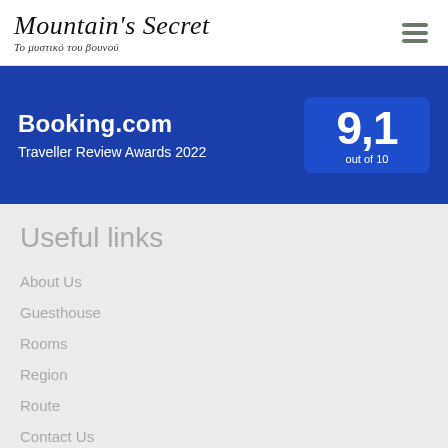Mountain's Secret — Το μυστικό του βουνού
[Figure (other): Booking.com Traveller Review Awards 2022 banner with score 9.1 out of 10 on blue background]
Useful links
About Us
Guesthouse
Rooms
Region
Route
Contact Us